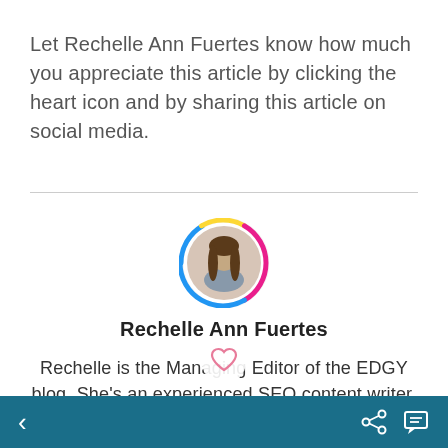Let Rechelle Ann Fuertes know how much you appreciate this article by clicking the heart icon and by sharing this article on social media.
[Figure (photo): Circular profile photo of Rechelle Ann Fuertes with a colorful ring border (blue, yellow, pink/magenta)]
Rechelle Ann Fuertes
Rechelle is the Managing Editor of the EDGY blog. She's an experienced SEO content writer, researcher, social media manager visual artist. She enjoys traveling and spending anywhere near the sea
< (back arrow) share icon and comment icon